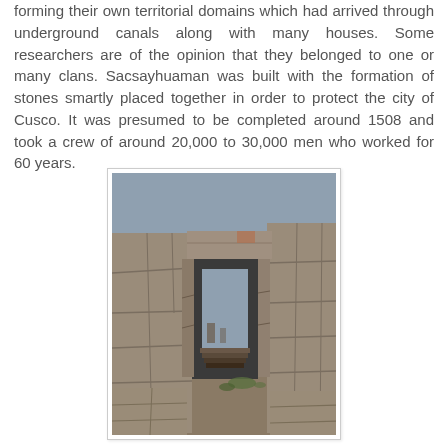forming their own territorial domains which had arrived through underground canals along with many houses. Some researchers are of the opinion that they belonged to one or many clans. Sacsayhuaman was built with the formation of stones smartly placed together in order to protect the city of Cusco. It was presumed to be completed around 1508 and took a crew of around 20,000 to 30,000 men who worked for 60 years.
[Figure (photo): Photograph of large stone walls and doorway at Sacsayhuaman, an Incan archaeological site near Cusco, Peru. The image shows massive fitted stone blocks forming a trapezoidal doorway with steps visible through the opening. The sky in the background is overcast grey.]